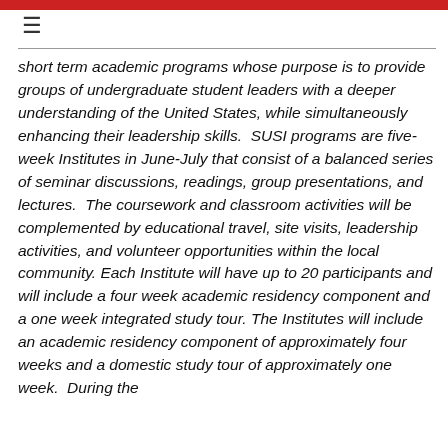≡
short term academic programs whose purpose is to provide groups of undergraduate student leaders with a deeper understanding of the United States, while simultaneously enhancing their leadership skills.  SUSI programs are five-week Institutes in June-July that consist of a balanced series of seminar discussions, readings, group presentations, and lectures.  The coursework and classroom activities will be complemented by educational travel, site visits, leadership activities, and volunteer opportunities within the local community. Each Institute will have up to 20 participants and will include a four week academic residency component and a one week integrated study tour. The Institutes will include an academic residency component of approximately four weeks and a domestic study tour of approximately one week.  During the